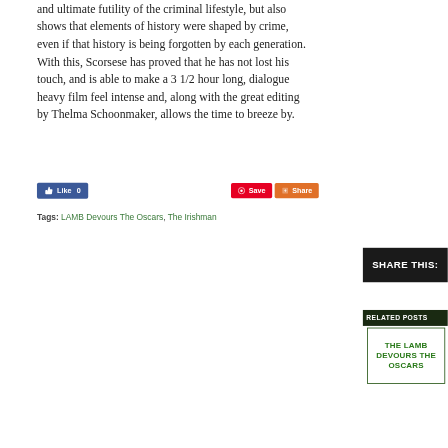and ultimate futility of the criminal lifestyle, but also shows that elements of history were shaped by crime, even if that history is being forgotten by each generation. With this, Scorsese has proved that he has not lost his touch, and is able to make a 3 1/2 hour long, dialogue heavy film feel intense and, along with the great editing by Thelma Schoonmaker, allows the time to breeze by.
[Figure (other): Social sharing buttons: Facebook Like (0), Pinterest Save, and Share buttons]
Tags: LAMB Devours The Oscars, The Irishman
SHARE THIS:
RELATED POSTS
[Figure (other): Related post card with text: THE LAMB DEVOURS THE OSCARS]